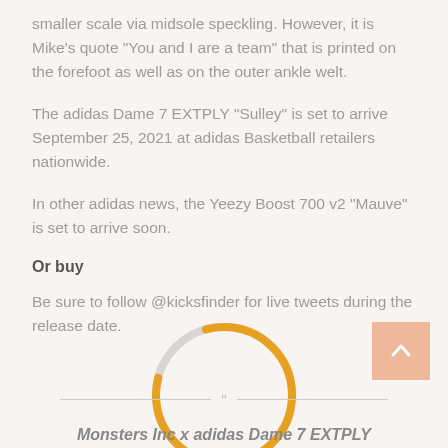smaller scale via midsole speckling. However, it is Mike’s quote “You and I are a team” that is printed on the forefoot as well as on the outer ankle welt.
The adidas Dame 7 EXTPLY “Sulley” is set to arrive September 25, 2021 at adidas Basketball retailers nationwide.
In other adidas news, the Yeezy Boost 700 v2 “Mauve” is set to arrive soon.
Or buy
Be sure to follow @kicksfinder for live tweets during the release date.
[Figure (other): Loading spinner circle with orange arc on light gray background]
[Figure (other): Back to top button with upward arrow, salmon/peach color]
Monsters Inc x adidas Dame 7 EXTPLY